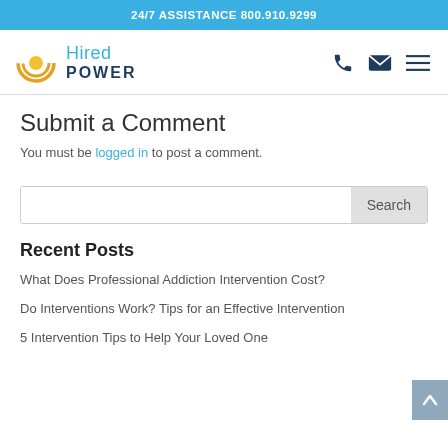24/7 ASSISTANCE 800.910.9299
[Figure (logo): Hired Power logo with orange circular icon and blue text]
Submit a Comment
You must be logged in to post a comment.
Search
Recent Posts
What Does Professional Addiction Intervention Cost?
Do Interventions Work? Tips for an Effective Intervention
5 Intervention Tips to Help Your Loved One